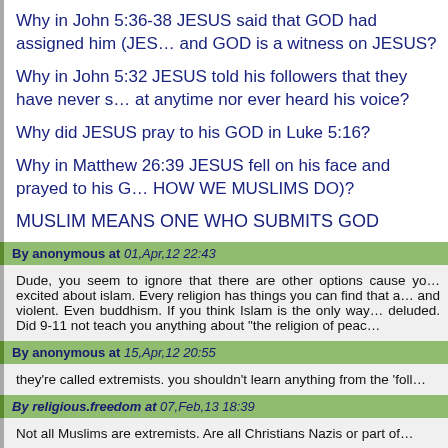Why in John 5:36-38 JESUS said that GOD had assigned him (JESUS) and GOD is a witness on JESUS?
Why in John 5:32 JESUS told his followers that they have never seen GOD at anytime nor ever heard his voice?
Why did JESUS pray to his GOD in Luke 5:16?
Why in Matthew 26:39 JESUS fell on his face and prayed to his GOD (JUST HOW WE MUSLIMS DO)?
MUSLIM MEANS ONE WHO SUBMITS GOD
By anonymous at 01,Apr,12 22:43
Dude, you seem to ignore that there are other options cause you are excited about islam. Every religion has things you can find that are absurd and violent. Even buddhism. If you think Islam is the only way you are deluded. Did 9-11 not teach you anything about "the religion of peace"?
By anonymous at 15,Apr,12 20:55
they're called extremists. you shouldn't learn anything from the 'followers'...
By religious.freedom at 07,Feb,13 18:39
Not all Muslims are extremists. Are all Christians Nazis or part of...